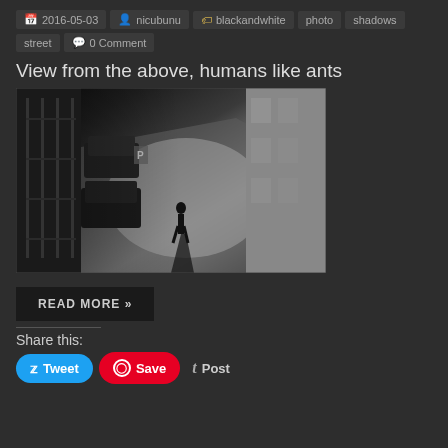2016-05-03  nicubunu  blackandwhite  photo  shadows  street  0 Comment
View from the above, humans like ants
[Figure (photo): Black and white aerial street photograph taken from above, showing a pedestrian walking alone in a sunlit street with cars parked nearby and building shadows creating dramatic contrast.]
READ MORE »
Share this:
Tweet  Save  Post